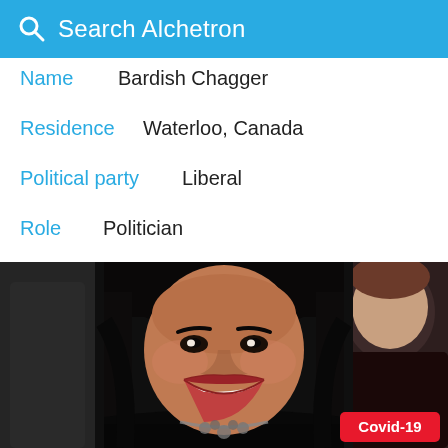Search Alchetron
Name  Bardish Chagger
Residence  Waterloo, Canada
Political party  Liberal
Role  Politician
[Figure (photo): Photo of Bardish Chagger smiling widely, wearing a black leather jacket and statement necklace, with other people visible in the background. A red 'Covid-19' badge appears in the bottom-right corner.]